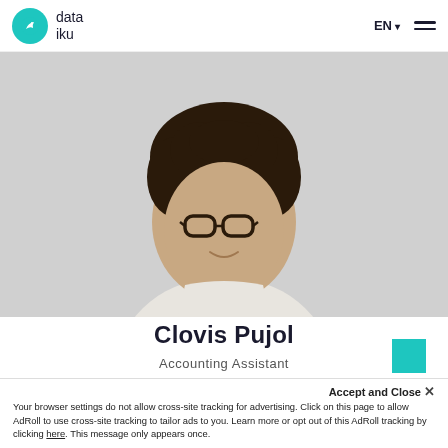[Figure (logo): Dataiku logo: teal circle with bird icon, text 'data iku' beside it]
EN  ☰
[Figure (photo): Profile photo of Clovis Pujol, a young man with curly dark hair and glasses, wearing a white t-shirt, photographed against a light grey background]
Clovis Pujol
Accounting Assistant
This website uses cookies to improve your experience. By clicking Accept and Close, your browser settings do not allow cross-site tracking for advertising. Click on this page to allow AdRoll to use cross-site tracking to tailor ads to you. Learn more or opt out of this AdRoll tracking by clicking here. This message only appears once.